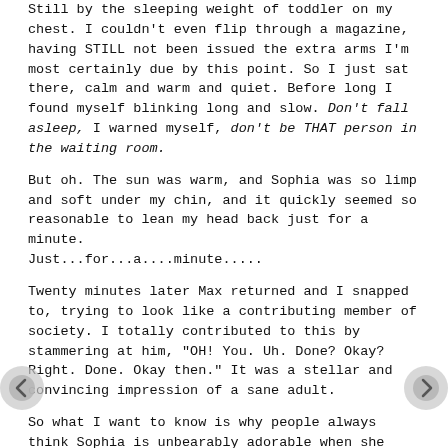Still by the sleeping weight of toddler on my chest. I couldn't even flip through a magazine, having STILL not been issued the extra arms I'm most certainly due by this point. So I just sat there, calm and warm and quiet. Before long I found myself blinking long and slow. Don't fall asleep, I warned myself, don't be THAT person in the waiting room.
But oh. The sun was warm, and Sophia was so limp and soft under my chin, and it quickly seemed so reasonable to lean my head back just for a minute.
Just...for...a....minute.....
Twenty minutes later Max returned and I snapped to, trying to look like a contributing member of society. I totally contributed to this by stammering at him, "OH! You. Uh. Done? Okay? Right. Done. Okay then." It was a stellar and convincing impression of a sane adult.
So what I want to know is why people always think Sophia is unbearably adorable when she falls asleep in public, while